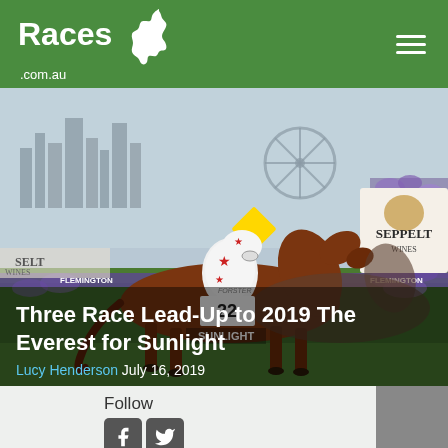Races.com.au
[Figure (photo): Horse racing photo showing horse number 22 'Sunlight' ridden by a jockey in white silks with red stars crossing finish line at Flemington racecourse, with Seppelt Wines signage visible in background]
Three Race Lead-Up to 2019 The Everest for Sunlight
Lucy Henderson July 16, 2019
Follow